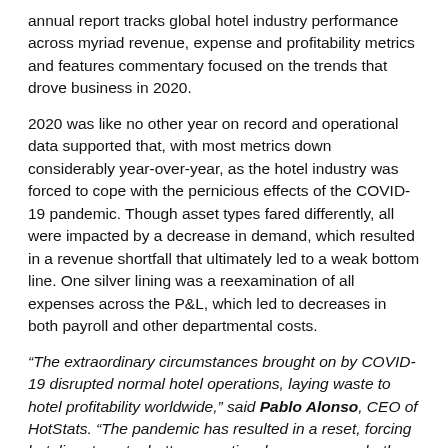annual report tracks global hotel industry performance across myriad revenue, expense and profitability metrics and features commentary focused on the trends that drove business in 2020.
2020 was like no other year on record and operational data supported that, with most metrics down considerably year-over-year, as the hotel industry was forced to cope with the pernicious effects of the COVID-19 pandemic. Though asset types fared differently, all were impacted by a decrease in demand, which resulted in a revenue shortfall that ultimately led to a weak bottom line. One silver lining was a reexamination of all expenses across the P&L, which led to decreases in both payroll and other departmental costs.
“The extraordinary circumstances brought on by COVID-19 disrupted normal hotel operations, laying waste to hotel profitability worldwide,” said Pablo Alonso, CEO of HotStats. “The pandemic has resulted in a reset, forcing hoteliers to get a better operational grasp across both revenue and cost. Amid the rebound, market context will be the driving force to bring hotel operations back to pre-pandemic levels. The